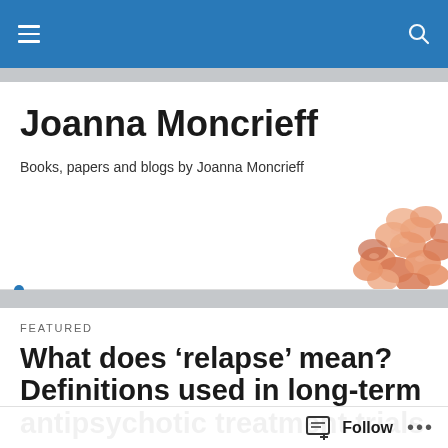Joanna Moncrieff
Books, papers and blogs by Joanna Moncrieff
[Figure (photo): Orange/salmon colored pills or tablets arranged in a pile, partially visible at the right edge of the header area]
FEATURED
What does 'relapse' mean? Definitions used in long-term antipsychotic treatment trials
Follow